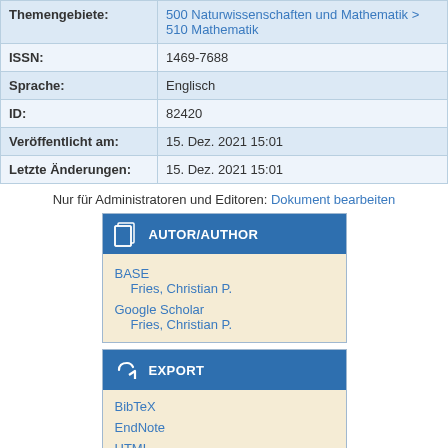| Field | Value |
| --- | --- |
| Themengebiete: | 500 Naturwissenschaften und Mathematik > 510 Mathematik |
| ISSN: | 1469-7688 |
| Sprache: | Englisch |
| ID: | 82420 |
| Veröffentlicht am: | 15. Dez. 2021 15:01 |
| Letzte Änderungen: | 15. Dez. 2021 15:01 |
Nur für Administratoren und Editoren: Dokument bearbeiten
[Figure (other): AUTOR/AUTHOR widget box with BASE and Google Scholar sections listing Fries, Christian P.]
[Figure (other): EXPORT widget box with links: BibTeX, EndNote, HTML, Reference Manager]